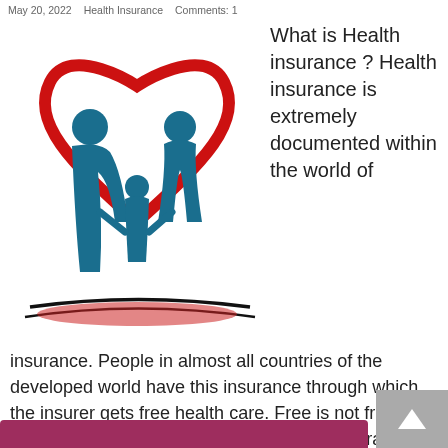May 20, 2022   Health Insurance   Comments: 1
[Figure (illustration): A red heart outline with blue silhouettes of a family (two adults and a child holding hands) standing on decorative ground lines — a health insurance logo/illustration.]
What is Health insurance ? Health insurance is extremely documented within the world of insurance. People in almost all countries of the developed world have this insurance through which the insurer gets free health care. Free is not free treatment from the hospital. Instead, the insurance company pays the hospital all the medical expenses on behalf of the insurer As ...